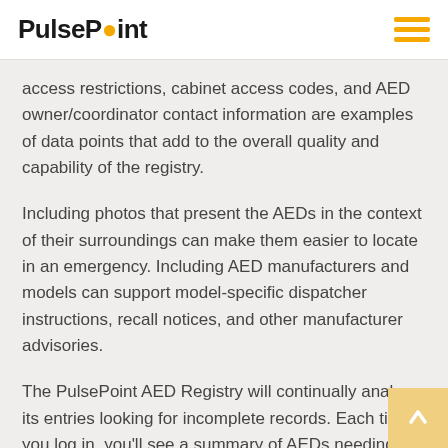PulsePoint
access restrictions, cabinet access codes, and AED owner/coordinator contact information are examples of data points that add to the overall quality and capability of the registry.
Including photos that present the AEDs in the context of their surroundings can make them easier to locate in an emergency. Including AED manufacturers and models can support model-specific dispatcher instructions, recall notices, and other manufacturer advisories.
The PulsePoint AED Registry will continually analyze its entries looking for incomplete records. Each time you log in, you'll see a summary of AEDs needing attention presented as pre-defined query buttons in the main window.